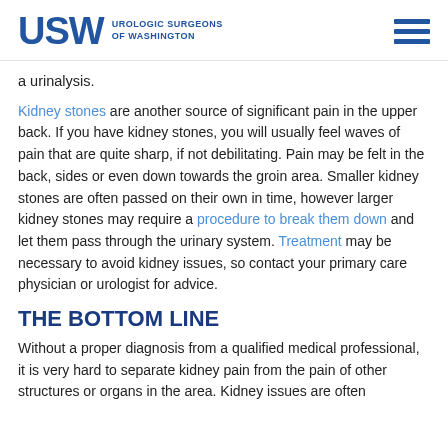USW UROLOGIC SURGEONS OF WASHINGTON
a urinalysis.
Kidney stones are another source of significant pain in the upper back. If you have kidney stones, you will usually feel waves of pain that are quite sharp, if not debilitating. Pain may be felt in the back, sides or even down towards the groin area. Smaller kidney stones are often passed on their own in time, however larger kidney stones may require a procedure to break them down and let them pass through the urinary system. Treatment may be necessary to avoid kidney issues, so contact your primary care physician or urologist for advice.
THE BOTTOM LINE
Without a proper diagnosis from a qualified medical professional, it is very hard to separate kidney pain from the pain of other structures or organs in the area. Kidney issues are often